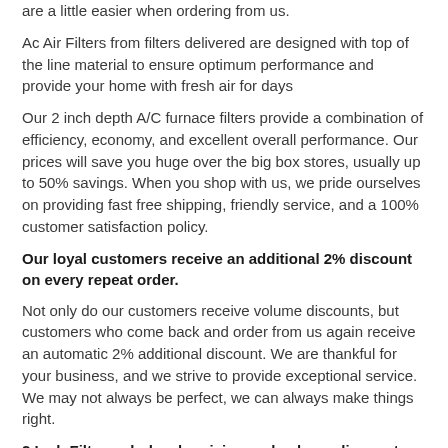are a little easier when ordering from us.
Ac Air Filters from filters delivered are designed with top of the line material to ensure optimum performance and provide your home with fresh air for days
Our 2 inch depth A/C furnace filters provide a combination of efficiency, economy, and excellent overall performance. Our prices will save you huge over the big box stores, usually up to 50% savings. When you shop with us, we pride ourselves on providing fast free shipping, friendly service, and a 100% customer satisfaction policy.
Our loyal customers receive an additional 2% discount on every repeat order.
Not only do our customers receive volume discounts, but customers who come back and order from us again receive an automatic 2% additional discount. We are thankful for your business, and we strive to provide exceptional service. We may not always be perfect, we can always make things right.
2 Inch Filters wholesale pricing and volume discounts.